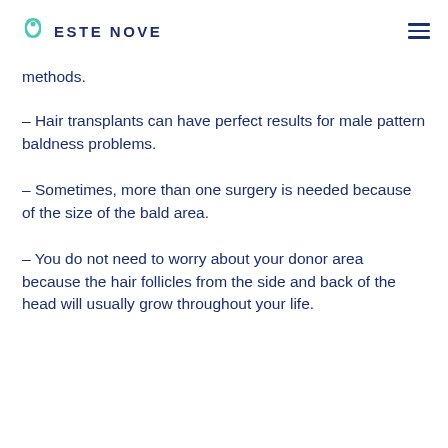ESTE NOVE
methods.
– Hair transplants can have perfect results for male pattern baldness problems.
– Sometimes, more than one surgery is needed because of the size of the bald area.
– You do not need to worry about your donor area because the hair follicles from the side and back of the head will usually grow throughout your life.